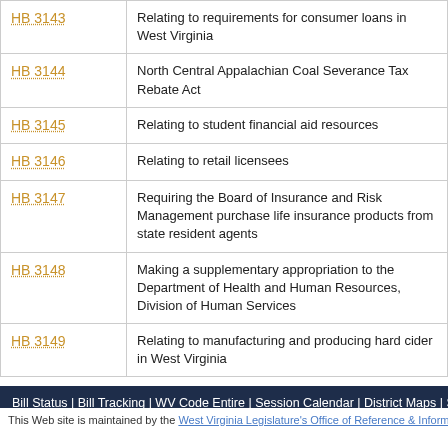| Bill | Description |
| --- | --- |
| HB 3143 | Relating to requirements for consumer loans in West Virginia |
| HB 3144 | North Central Appalachian Coal Severance Tax Rebate Act |
| HB 3145 | Relating to student financial aid resources |
| HB 3146 | Relating to retail licensees |
| HB 3147 | Requiring the Board of Insurance and Risk Management purchase life insurance products from state resident agents |
| HB 3148 | Making a supplementary appropriation to the Department of Health and Human Resources, Division of Human Services |
| HB 3149 | Relating to manufacturing and producing hard cider in West Virginia |
Bill Status | Bill Tracking | WV Code Entire | Session Calendar | District Maps | Sena
This Web site is maintained by the West Virginia Legislature's Office of Reference & Information. | Ter